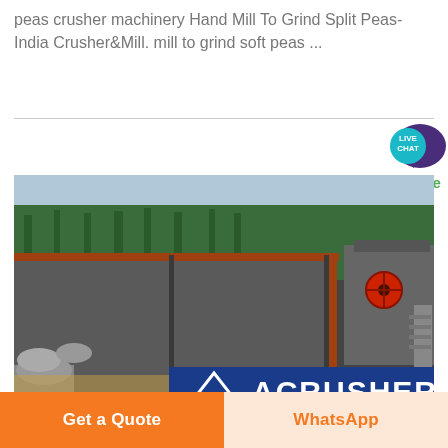peas crusher machinery Hand Mill To Grind Split Peas-India Crusher&Mill. mill to grind soft peas ...
[Figure (photo): Outdoor industrial crusher/mill equipment setup at a quarry or aggregate site. Large metal structure with crusher machinery visible on the right side with a red flywheel. Surrounded by rock piles and trees. A blue banner at the bottom reads 'ACRUSHER' with a triangle logo.]
Get a Quote
WhatsApp